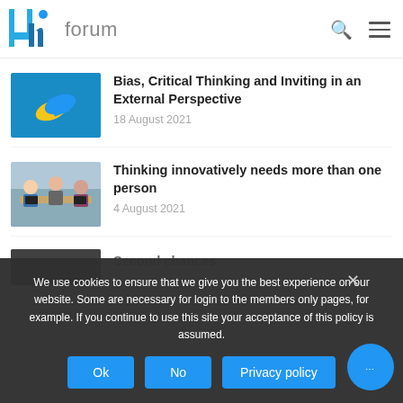4h forum
[Figure (photo): Blue background with yellow and blue capsule pills]
Bias, Critical Thinking and Inviting in an External Perspective
18 August 2021
[Figure (photo): Group of people collaborating around a table with laptops]
Thinking innovatively needs more than one person
4 August 2021
[Figure (photo): Partially visible dark thumbnail for third article]
Second chances
We use cookies to ensure that we give you the best experience on our website. Some are necessary for login to the members only pages, for example. If you continue to use this site your acceptance of this policy is assumed.